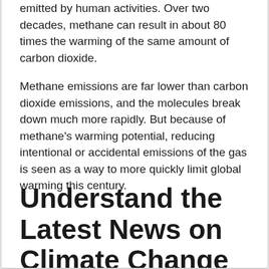emitted by human activities. Over two decades, methane can result in about 80 times the warming of the same amount of carbon dioxide.
Methane emissions are far lower than carbon dioxide emissions, and the molecules break down much more rapidly. But because of methane's warming potential, reducing intentional or accidental emissions of the gas is seen as a way to more quickly limit global warming this century.
Understand the Latest News on Climate Change